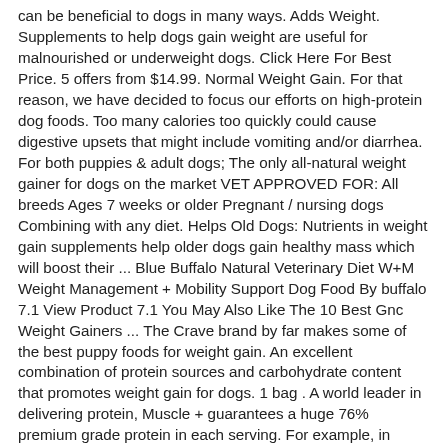can be beneficial to dogs in many ways. Adds Weight. Supplements to help dogs gain weight are useful for malnourished or underweight dogs. Click Here For Best Price. 5 offers from $14.99. Normal Weight Gain. For that reason, we have decided to focus our efforts on high-protein dog foods. Too many calories too quickly could cause digestive upsets that might include vomiting and/or diarrhea. For both puppies & adult dogs; The only all-natural weight gainer for dogs on the market VET APPROVED FOR: All breeds Ages 7 weeks or older Pregnant / nursing dogs Combining with any diet. Helps Old Dogs: Nutrients in weight gain supplements help older dogs gain healthy mass which will boost their ... Blue Buffalo Natural Veterinary Diet W+M Weight Management + Mobility Support Dog Food By buffalo 7.1 View Product 7.1 You May Also Like The 10 Best Gnc Weight Gainers ... The Crave brand by far makes some of the best puppy foods for weight gain. An excellent combination of protein sources and carbohydrate content that promotes weight gain for dogs. 1 bag . A world leader in delivering protein, Muscle + guarantees a huge 76% premium grade protein in each serving. For example, in female dogs the decrease in oestrogen levels makes weight gain more likely because it takes the brain longer to realise that the stomach is full, resulting in an increase in appetite. Miracle Vet is an all natural liquid weight gainer for dogs & cats. Dog Food Supplements For Weight Gain [amazon_link asins='B00GWOTPR2' template='ProductAd' store='kennelcamus-20' marketplace='US' link_id='7ba13d78-4f07-11e8-9a4b-673ead60b920'] Increase Your Dog's Weight Gain, Energy Levels With These Nutrition Tips Dog like humans sometimes need a bit Vet-Approved. Size. Just 16 oz of Miracle Vet contai... See More. Regular.